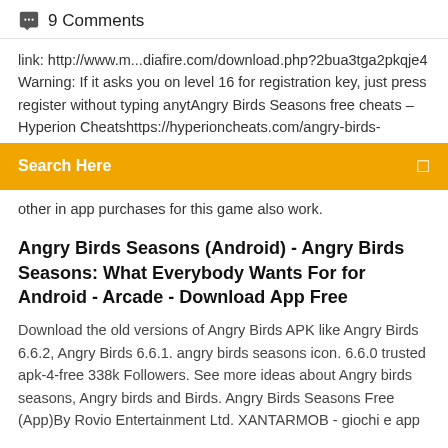9 Comments
link: http://www.m...diafire.com/download.php?2bua3tga2pkqje4 Warning: If it asks you on level 16 for registration key, just press register without typing anytAngry Birds Seasons free cheats – Hyperion Cheatshttps://hyperioncheats.com/angry-birds-
[Figure (other): Search bar with orange background, text 'Search Here' and a search icon]
other in app purchases for this game also work.
Angry Birds Seasons (Android) - Angry Birds Seasons: What Everybody Wants For for Android - Arcade - Download App Free
Download the old versions of Angry Birds APK like Angry Birds 6.6.2, Angry Birds 6.6.1. angry birds seasons icon. 6.6.0 trusted apk-4-free 338k Followers. See more ideas about Angry birds seasons, Angry birds and Birds. Angry Birds Seasons Free (App)By Rovio Entertainment Ltd. XANTARMOB - giochi e app